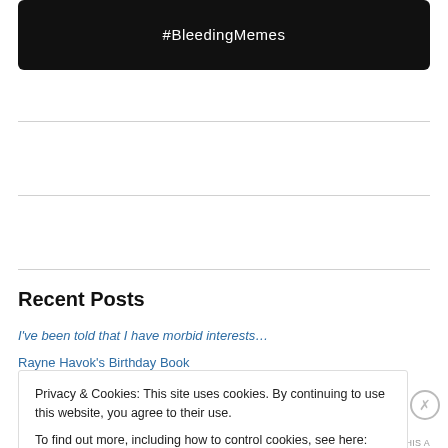[Figure (screenshot): Black rounded rectangle with white text '#BleedingMemes' centered]
Recent Posts
I've been told that I have morbid interests…
Rayne Havok's Birthday Book
Privacy & Cookies: This site uses cookies. By continuing to use this website, you agree to their use.
To find out more, including how to control cookies, see here: Cookie Policy
Close and accept